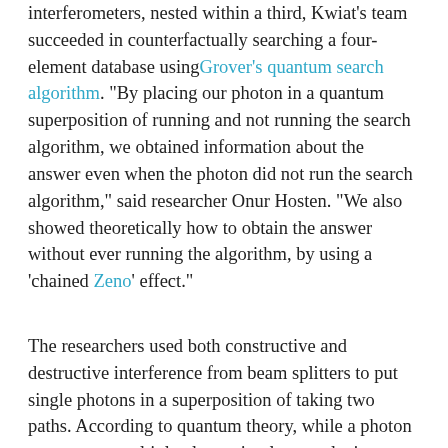interferometers, nested within a third, Kwiat's team succeeded in counterfactually searching a four-element database using Grover's quantum search algorithm. "By placing our photon in a quantum superposition of running and not running the search algorithm, we obtained information about the answer even when the photon did not run the search algorithm," said researcher Onur Hosten. "We also showed theoretically how to obtain the answer without ever running the algorithm, by using a 'chained Zeno' effect."
The researchers used both constructive and destructive interference from beam splitters to put single photons in a superposition of taking two paths. According to quantum theory, while a photon can occupy multiple places simultaneously, it can only make an actual appearance at one location. Its presence defines its path, and that can, in a very strange way, negate the need for the search algorithm to run. "In a sense, it is the possibility that the